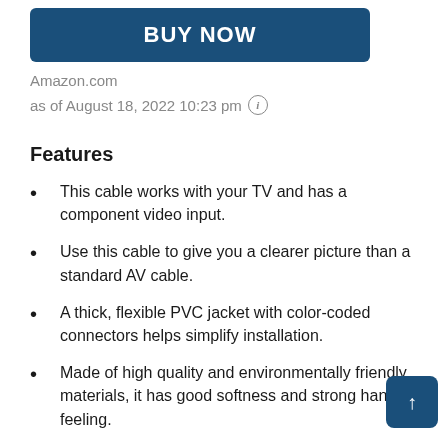[Figure (other): BUY NOW button — dark blue rounded rectangle with white bold uppercase text]
Amazon.com
as of August 18, 2022 10:23 pm ℹ
Features
This cable works with your TV and has a component video input.
Use this cable to give you a clearer picture than a standard AV cable.
A thick, flexible PVC jacket with color-coded connectors helps simplify installation.
Made of high quality and environmentally friendly materials, it has good softness and strong hand feeling.
[Figure (other): Scroll-to-top button — dark blue rounded square with white upward arrow]